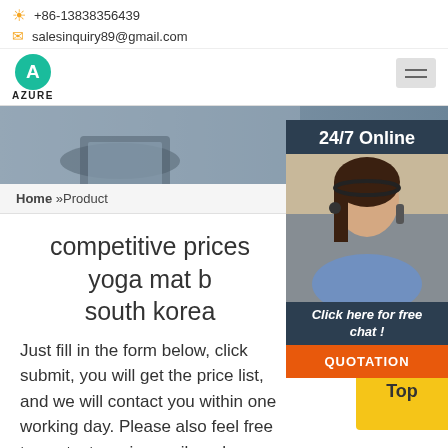+86-13838356439
salesinquiry89@gmail.com
[Figure (logo): Azure company logo - teal circle with letter A and AZURE text below]
[Figure (photo): Hero banner showing person using tablet device, partially obscured by 24/7 online chat widget]
Home »Product
competitive prices yoga mat b south korea
Just fill in the form below, click submit, you will get the price list, and we will contact you within one working day. Please also feel free to contact us via email or phone. (* is
[Figure (photo): 24/7 Online chat widget showing woman with headset smiling, with Click here for free chat! text and QUOTATION button]
[Figure (other): Yellow Top button]